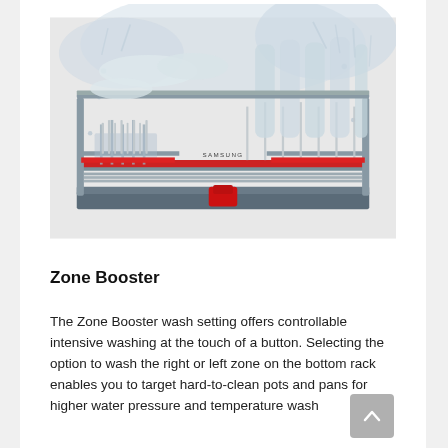[Figure (photo): A Samsung dishwasher lower rack filled with dishes, glasses, and cutlery, shown with water spray effects in a product marketing photo. The rack has red trim accents and a red spray arm visible at the bottom center.]
Zone Booster
The Zone Booster wash setting offers controllable intensive washing at the touch of a button. Selecting the option to wash the right or left zone on the bottom rack enables you to target hard-to-clean pots and pans for higher water pressure and temperature wash